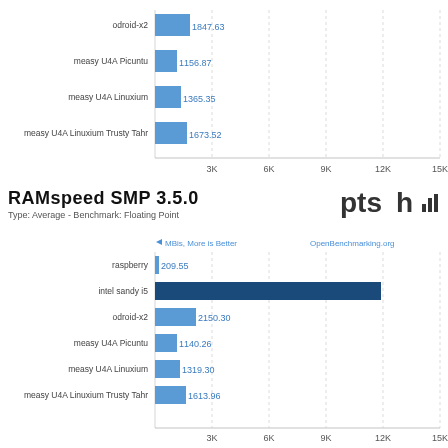[Figure (bar-chart): ]
RAMspeed SMP 3.5.0
Type: Average - Benchmark: Floating Point
[Figure (bar-chart): RAMspeed SMP 3.5.0]